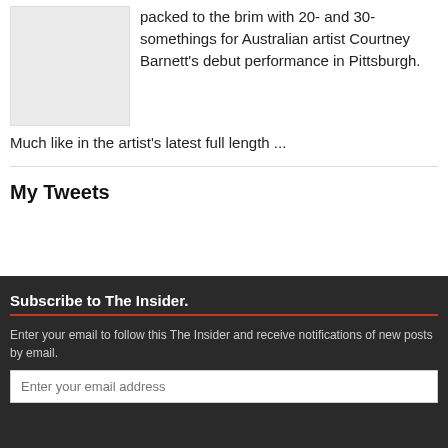[Figure (photo): Grey placeholder image for an article about Courtney Barnett]
packed to the brim with 20- and 30-somethings for Australian artist Courtney Barnett's debut performance in Pittsburgh. Much like in the artist's latest full length ...
My Tweets
Subscribe to The Insider.
Enter your email to follow this The Insider and receive notifications of new posts by email.